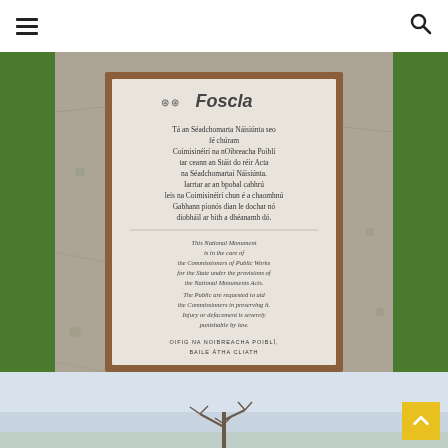Navigation header with hamburger menu and search icon
[Figure (photo): Close-up photograph of a stone monument plaque in Irish and English text. The plaque reads in Irish: 'Tá an Séadchomarta Náisiúnta seo fé chúram Coimisinéirí na nOibreacha Poiblí tar ceann an Stáit do réir Acta na Séadchomartaí Náisiúnta. Iarrtar ar an bpobal cabhrú leis na Coimisinéirí chun é a chaomhnú. Gabhann pionós dian le dochar nó díobháil ar bith a dhéanamh dó.' In English: 'This National Monument is in the care of the Commissioners of Public Works for the State under the provisions of the National Monuments Acts. The Public are requested to aid the Commissioners in preserving it. Injury or defacement is severely punishable by law. OIFIG NA NOIBREACHA POIBLÍ, BAILE ÁTHA CLIATH'. The sign is mounted on a stone pillar with green grass in the background.]
[Figure (photo): Partial view of an outdoor landscape with a pale blue sky and a bare tree visible at the bottom of the frame.]